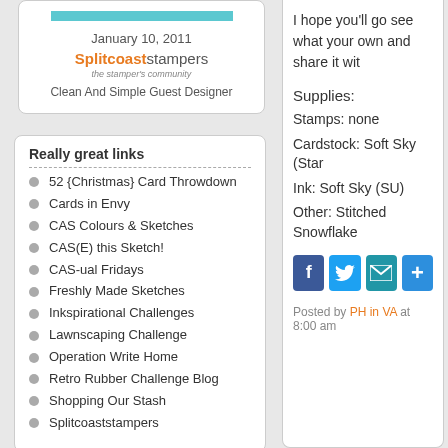[Figure (screenshot): Splitcoaststampers guest designer badge with teal bar, date January 10 2011, logo, tagline, and Clean And Simple Guest Designer label]
Really great links
52 {Christmas} Card Throwdown
Cards in Envy
CAS Colours & Sketches
CAS(E) this Sketch!
CAS-ual Fridays
Freshly Made Sketches
Inkspirational Challenges
Lawnscaping Challenge
Operation Write Home
Retro Rubber Challenge Blog
Shopping Our Stash
Splitcoaststampers
I hope you'll go see what your own and share it wit
Supplies:
Stamps: none
Cardstock: Soft Sky (Star
Ink: Soft Sky (SU)
Other: Stitched Snowflake
Posted by PH in VA at 8:00 am